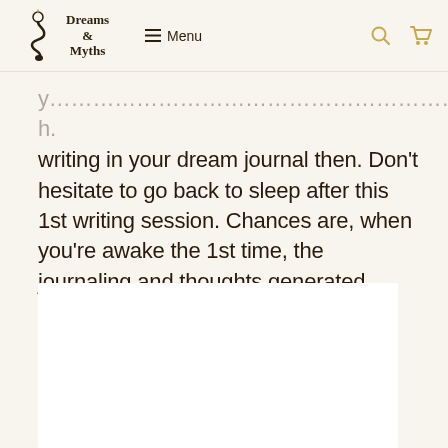Dreams & Myths — Menu
writing in your dream journal then. Don't hesitate to go back to sleep after this 1st writing session. Chances are, when you're awake the 1st time, the journaling and thoughts generated while journaling will carry on to your following dreams.